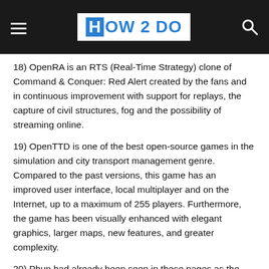HOW 2 DO
18) OpenRA is an RTS (Real-Time Strategy) clone of Command & Conquer: Red Alert created by the fans and in continuous improvement with support for replays, the capture of civil structures, fog and the possibility of streaming online.
19) OpenTTD is one of the best open-source games in the simulation and city transport management genre. Compared to the past versions, this game has an improved user interface, local multiplayer and on the Internet, up to a maximum of 255 players. Furthermore, the game has been visually enhanced with elegant graphics, larger maps, new features, and greater complexity.
20) Phun had already been seen in these pages as the best example of physics applied to a video game. No specific purpose, only realistic effects, and an editor to design…